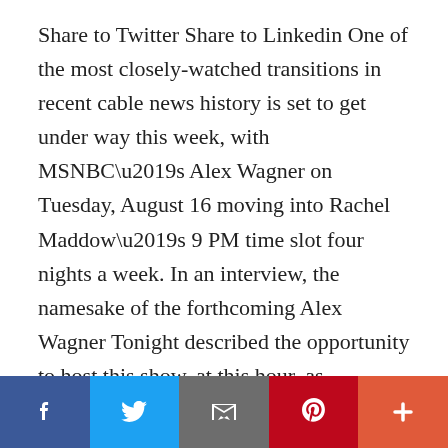Share to Twitter Share to Linkedin One of the most closely-watched transitions in recent cable news history is set to get under way this week, with MSNBC’s Alex Wagner on Tuesday, August 16 moving into Rachel Maddow’s 9 PM time slot four nights a week. In an interview, the namesake of the forthcoming Alex Wagner Tonight described the opportunity to host this show, at this hour, as “one of the best jobs in journalism.” Wagner — a veteran of MSNBC as well as of CBS News and Showtime’s The Circus — also told me that she’s not been given anything resembling a ratings-oriented mandate from above, and that she’s going to try and offer